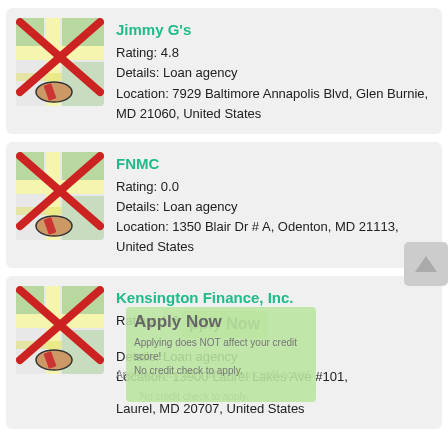[Figure (screenshot): Mobile app screenshot showing three loan agency listings: Jimmy G's, FNMC, and Kensington Finance, Inc., each with a map icon crossed out in red, rating, details, and location.]
Jimmy G's
Rating: 4.8
Details: Loan agency
Location: 7929 Baltimore Annapolis Blvd, Glen Burnie, MD 21060, United States
FNMC
Rating: 0.0
Details: Loan agency
Location: 1350 Blair Dr # A, Odenton, MD 21113, United States
Kensington Finance, Inc.
Rating: 1.6
Details: Loan agency
Location: 13900 Laurel Lakes Ave #101, Laurel, MD 20707, United States
Apply Now
Applying does NOT affect your credit score!
No credit check to apply.